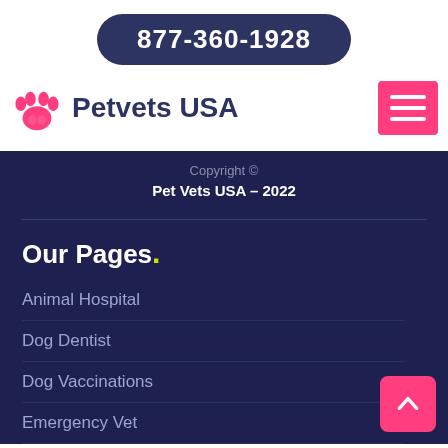877-360-1928
[Figure (logo): Petvets USA logo with pink paw icon and dark blue text]
[Figure (other): Pink hamburger menu button with three white horizontal bars]
Copyright ©
Pet Vets USA - 2022
Our Pages.
Animal Hospital
Dog Dentist
Dog Vaccinations
Emergency Vet